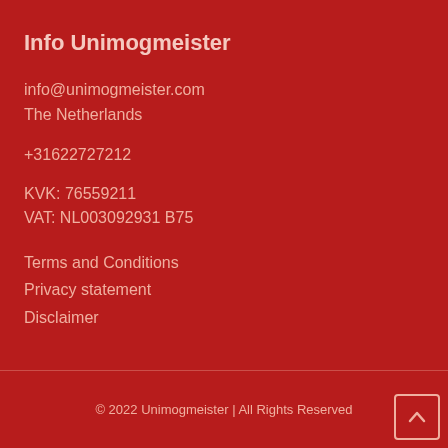Info Unimogmeister
info@unimogmeister.com
The Netherlands
+31622727212
KVK: 76559211
VAT: NL003092931 B75
Terms and Conditions
Privacy statement
Disclaimer
© 2022 Unimogmeister | All Rights Reserved